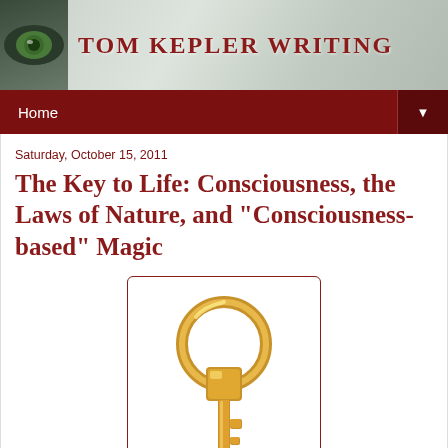TOM KEPLER WRITING
Home
Saturday, October 15, 2011
The Key to Life: Consciousness, the Laws of Nature, and "Consciousness-based" Magic
[Figure (illustration): A golden key with a circular ring top, illustrated in a gold/yellow color scheme, displayed inside a rectangular box with dark red border]